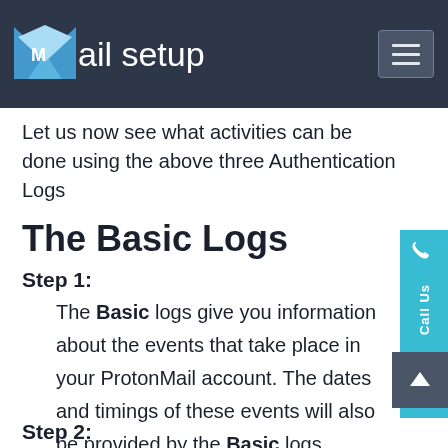Mail setup
Let us now see what activities can be done using the above three Authentication Logs
The Basic Logs
Step 1:
The Basic logs give you information about the events that take place in your ProtonMail account. The dates and timings of these events will also be provided by the Basic logs.
Step 2: